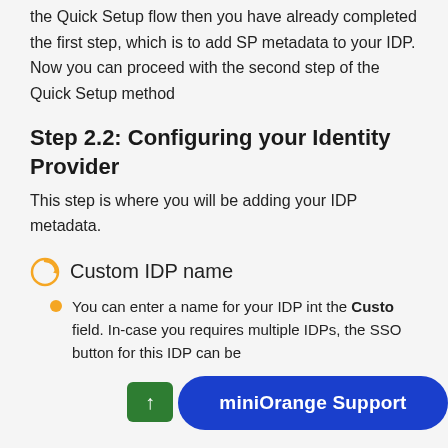the Quick Setup flow then you have already completed the first step, which is to add SP metadata to your IDP. Now you can proceed with the second step of the Quick Setup method
Step 2.2: Configuring your Identity Provider
This step is where you will be adding your IDP metadata.
Custom IDP name
You can enter a name for your IDP int the Custom field. In-case you requires multiple IDPs, the SSO button for this IDP can be...